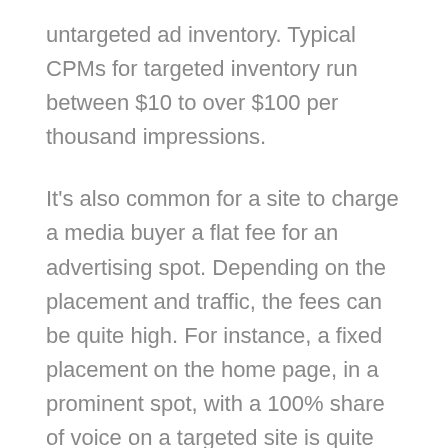untargeted ad inventory. Typical CPMs for targeted inventory run between $10 to over $100 per thousand impressions.
It's also common for a site to charge a media buyer a flat fee for an advertising spot. Depending on the placement and traffic, the fees can be quite high. For instance, a fixed placement on the home page, in a prominent spot, with a 100% share of voice on a targeted site is quite desirable.
The advantage of running banner advertising on your site is that you may be able to get paid purely on the basis of page views, thereby monetizing all